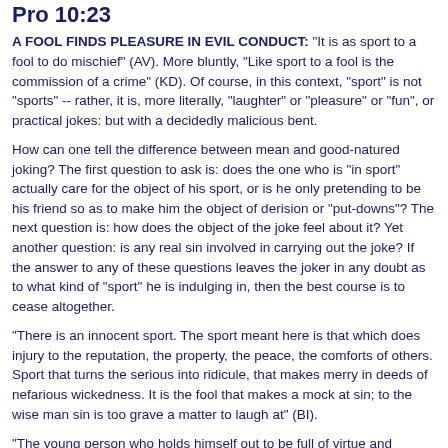Pro 10:23
A FOOL FINDS PLEASURE IN EVIL CONDUCT: "It is as sport to a fool to do mischief" (AV). More bluntly, "Like sport to a fool is the commission of a crime" (KD). Of course, in this context, "sport" is not "sports" -- rather, it is, more literally, "laughter" or "pleasure" or "fun", or practical jokes: but with a decidedly malicious bent.
How can one tell the difference between mean and good-natured joking? The first question to ask is: does the one who is "in sport" actually care for the object of his sport, or is he only pretending to be his friend so as to make him the object of derision or "put-downs"? The next question is: how does the object of the joke feel about it? Yet another question: is any real sin involved in carrying out the joke? If the answer to any of these questions leaves the joker in any doubt as to what kind of "sport" he is indulging in, then the best course is to cease altogether.
"There is an innocent sport. The sport meant here is that which does injury to the reputation, the property, the peace, the comforts of others. Sport that turns the serious into ridicule, that makes merry in deeds of nefarious wickedness. It is the fool that makes a mock at sin; to the wise man sin is too grave a matter to laugh at" (BI).
"The young person who holds himself out to be full of virtue and goodwill under the guise of fun and good humour creates mischief and, when rebuked, calls it sport. What should we say of such an one? Is his uninhibited love of a good time, is his animated and